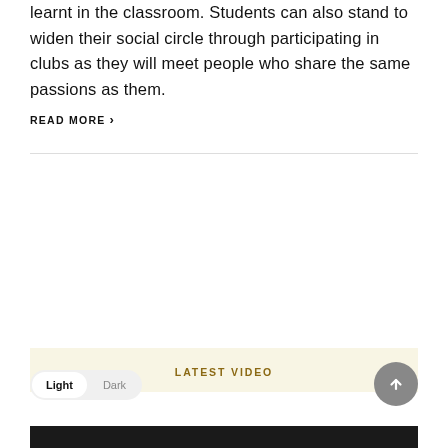learnt in the classroom. Students can also stand to widen their social circle through participating in clubs as they will meet people who share the same passions as them.
READ MORE ›
[Figure (other): Search bar with text input placeholder 'Type & Hit Enter...' and a black search button with magnifying glass icon]
LATEST VIDEO
[Figure (screenshot): Bottom portion of a video thumbnail showing a dark image]